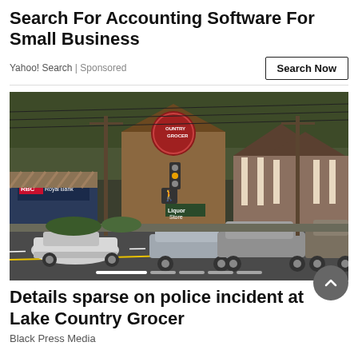Search For Accounting Software For Small Business
Yahoo! Search | Sponsored
[Figure (photo): Street scene showing a shopping area with RBC Royal Bank, Country Grocer store, Liquor Store, and other shops. Cars drive along the road in front. Overhead power lines and trees visible in background.]
Details sparse on police incident at Lake Country Grocer
Black Press Media